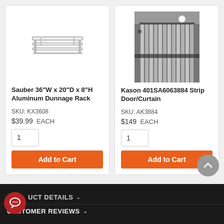[Figure (photo): Aluminum dunnage rack product image on white background]
Sauber 36"W x 20"D x 8"H Aluminum Dunnage Rack
SKU: KX3608
$39.99  EACH
[Figure (photo): Kason strip door/curtain installed in a refrigerated room, black and white photo]
Kason 401SA6063884 Strip Door/Curtain
SKU: AK3884
$149  EACH
UCT DETAILS
CUSTOMER REVIEWS